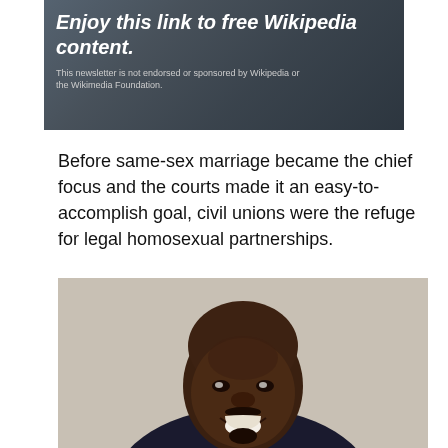[Figure (other): Banner advertisement with text 'Enjoy this link to free Wikipedia content.' and disclaimer 'This newsletter is not endorsed or sponsored by Wikipedia or the Wikimedia Foundation.' over a dark background image.]
Before same-sex marriage became the chief focus and the courts made it an easy-to-accomplish goal, civil unions were the refuge for legal homosexual partnerships.
[Figure (photo): Portrait photo of a smiling Black man in a dark suit with white dress shirt, bald head, mustache and goatee, professional headshot style against a light gray background.]